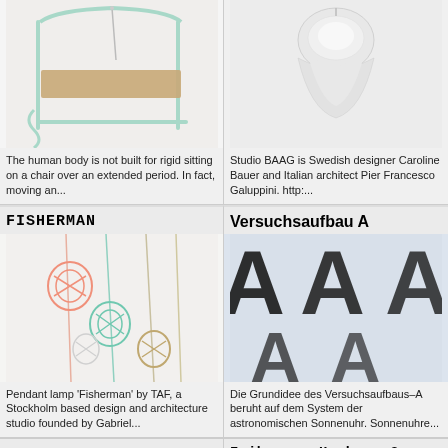[Figure (photo): A chair with mint green metal frame and cardboard/plywood seat on light background]
The human body is not built for rigid sitting on a chair over an extended period. In fact, moving an...
[Figure (photo): White pendant lamp shade, minimalist conical shape on light background]
Studio BAAG is Swedish designer Caroline Bauer and Italian architect Pier Francesco Galuppini. http:...
FISHERMAN
Versuchsaufbau A
[Figure (photo): Pendant lamps 'Fisherman' in coral, teal, white and natural rope cage globe shapes hanging on thin lines]
Pendant lamp 'Fisherman' by TAF, a Stockholm based design and architecture studio founded by Gabriel...
[Figure (photo): Large letter A typography printed on light blue/white paper pages, close-up editorial photo]
Die Grundidee des Versuchsaufbaus–A beruht auf dem System der astronomischen Sonnenuhr. Sonnenuhre...
Pituki
Irihamnen Harbour Sauna
[Figure (photo): Partial view of a Pituki item on warm beige/orange background]
[Figure (photo): Partial view of Irihamnen Harbour Sauna]